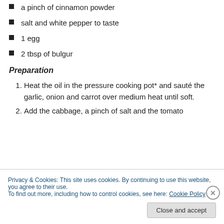a pinch of cinnamon powder
salt and white pepper to taste
1 egg
2 tbsp of bulgur
Preparation
Heat the oil in the pressure cooking pot* and sauté the garlic, onion and carrot over medium heat until soft.
Add the cabbage, a pinch of salt and the tomato
Privacy & Cookies: This site uses cookies. By continuing to use this website, you agree to their use.
To find out more, including how to control cookies, see here: Cookie Policy